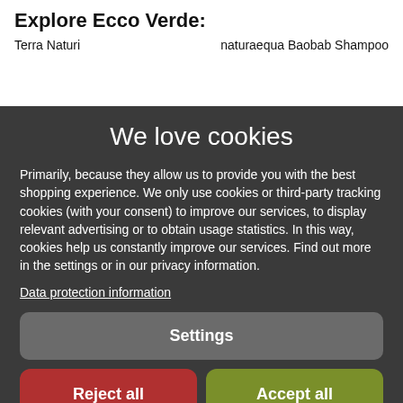Explore Ecco Verde:
Terra Naturi                    naturaequa Baobab Shampoo
We love cookies
Primarily, because they allow us to provide you with the best shopping experience. We only use cookies or third-party tracking cookies (with your consent) to improve our services, to display relevant advertising or to obtain usage statistics. In this way, cookies help us constantly improve our services. Find out more in the settings or in our privacy information.
Data protection information
Settings
Reject all
Accept all